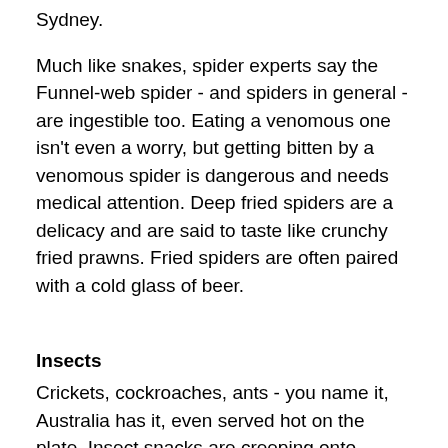Sydney.
Much like snakes, spider experts say the Funnel-web spider - and spiders in general - are ingestible too. Eating a venomous one isn't even a worry, but getting bitten by a venomous spider is dangerous and needs medical attention. Deep fried spiders are a delicacy and are said to taste like crunchy fried prawns. Fried spiders are often paired with a cold glass of beer.
Insects
Crickets, cockroaches, ants - you name it, Australia has it, even served hot on the plate. Insect snacks are creeping onto menus at Australian boutique eateries. While it remains an oddity to the majority, it's become popular these days. And it's not just Australia that's getting insects into the snack scene. Asia, Latin America and Africa have been eating insects as part of their diet. Australia's Aborigines have eaten bush tucker including ants, moths and larvae for thousands of years.
Edible insects contain high quality protein, vitamins and amino acids for humans. They can be eaten whole, or processed into